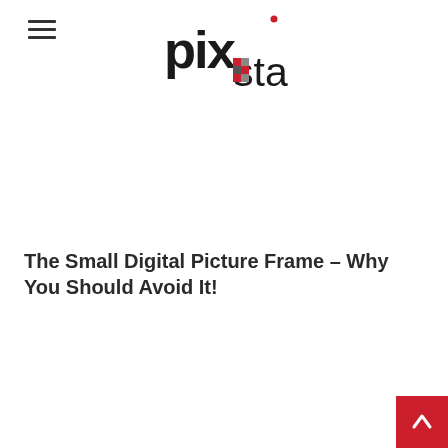pixstar logo and navigation
The Small Digital Picture Frame – Why You Should Avoid It!
[Figure (other): Back to top button (red square with upward chevron arrow) in bottom-right corner]